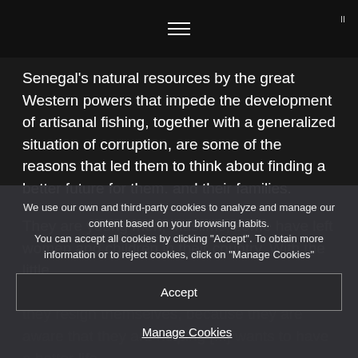≡
Senegal's natural resources by the great Western powers that impede the development of artisanal fishing, together with a generalized situation of corruption, are some of the reasons that led them to think about finding a better future for them. and their families.
They are young men, Muslims, some have left women and children in their country. With the little ... they resign themselves, because they are aware that they are helping [...] wants to have a better life.
We use our own and third-party cookies to analyze and manage our content based on your browsing habits. You can accept all cookies by clicking "Accept". To obtain more information or to reject cookies, click on "Manage Cookies"
Accept
Manage Cookies